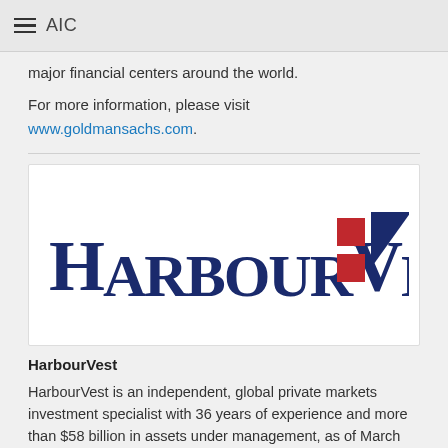AIC
major financial centers around the world.
For more information, please visit www.goldmansachs.com.
[Figure (logo): HarbourVest logo: dark navy text 'HARBOURVEST' with red and navy geometric icon to the right]
HarbourVest
HarbourVest is an independent, global private markets investment specialist with 36 years of experience and more than $58 billion in assets under management, as of March 31, 2019. The Firm's powerful global platform offers clients